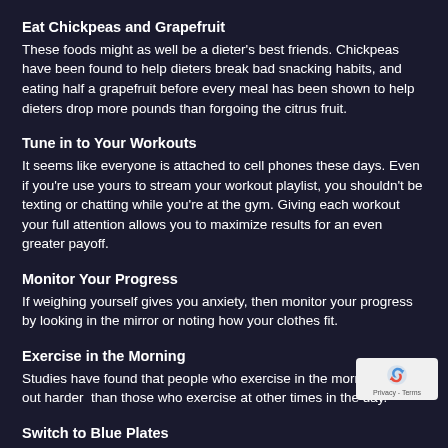Eat Chickpeas and Grapefruit
These foods might as well be a dieter’s best friends. Chickpeas have been found to help dieters break bad snacking habits, and eating half a grapefruit before every meal has been shown to help dieters drop more pounds than forgoing the citrus fruit.
Tune in to Your Workouts
It seems like everyone is attached to cell phones these days. Even if you’re use yours to stream your workout playlist, you shouldn’t be texting or chatting while you’re at the gym. Giving each workout your full attention allows you to maximize results for an even greater payoff.
Monitor Your Progress
If weighing yourself gives you anxiety, then monitor your progress by looking in the mirror or noting how your clothes fit.
Exercise in the Morning
Studies have found that people who exercise in the morning work out harder  than those who exercise at other times in the day.
Switch to Blue Plates
The color blue is considered a natural appetite suppressant. don’t need to don a pair of blue-lens shades  before you eat; just